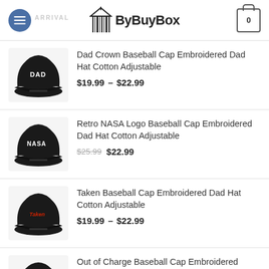ByBuyBox
Dad Crown Baseball Cap Embroidered Dad Hat Cotton Adjustable — $19.99 – $22.99
Retro NASA Logo Baseball Cap Embroidered Dad Hat Cotton Adjustable — $25.99 $22.99
Taken Baseball Cap Embroidered Dad Hat Cotton Adjustable — $19.99 – $22.99
Out of Charge Baseball Cap Embroidered Vintage Dad Hat Cotton Adjustable — $24.49
Greek Eye Baseball Cap Embroidered Dad Hat Cotton Adjustable